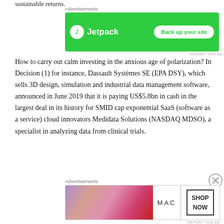sustainable returns.
[Figure (screenshot): Jetpack advertisement banner with green background showing 'Back up your site' button]
How to carry out calm investing in the anxious age of polarization? In Decision (1) for instance, Dassault Systèmes SE (EPA DSY), which sells 3D design, simulation and industrial data management software, announced in June 2019 that it is paying US$5.8bn in cash in the largest deal in its history for SMID cap exponential SaaS (software as a service) cloud innovators Medidata Solutions (NASDAQ MDSO), a specialist in analyzing data from clinical trials.
[Figure (screenshot): MAC cosmetics advertisement showing lipsticks with Shop Now button]